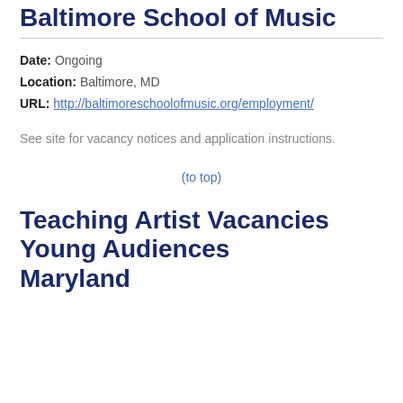Teacher Vacancies Baltimore School of Music
Date: Ongoing
Location: Baltimore, MD
URL: http://baltimoreschoolofmusic.org/employment/
See site for vacancy notices and application instructions.
(to top)
Teaching Artist Vacancies Young Audiences Maryland